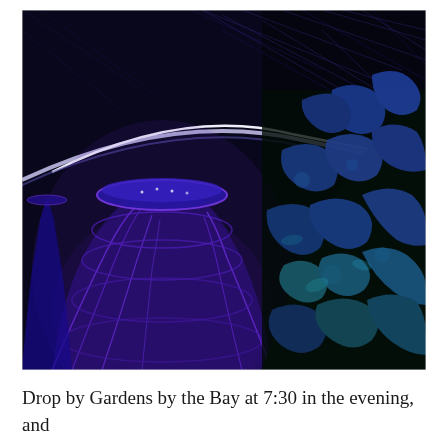[Figure (photo): Night photograph of Gardens by the Bay, Singapore. Shows the illuminated Supertree structure on the left glowing in purple/blue light, with lush tropical foliage lit in blue and teal on the right. A curved walkway bridge is visible in the upper portion. Dark night sky in the background with faint geometric light patterns.]
Drop by Gardens by the Bay at 7:30 in the evening, and